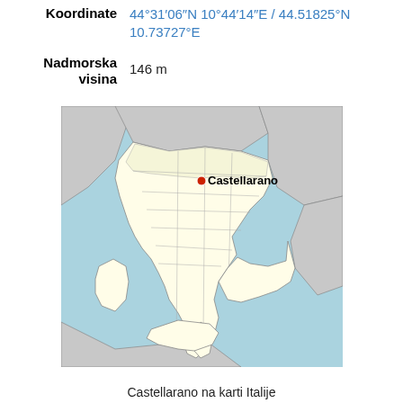| Label | Value |
| --- | --- |
| Koordinate | 44°31′06″N 10°44′14″E / 44.51825°N 10.73727°E |
| Nadmorska visina | 146 m |
[Figure (map): Map of Italy with Castellarano marked with a red dot in the northern region (Emilia-Romagna). Surrounding countries and seas are visible. The map shows regional and provincial boundaries.]
Castellarano na karti Italije